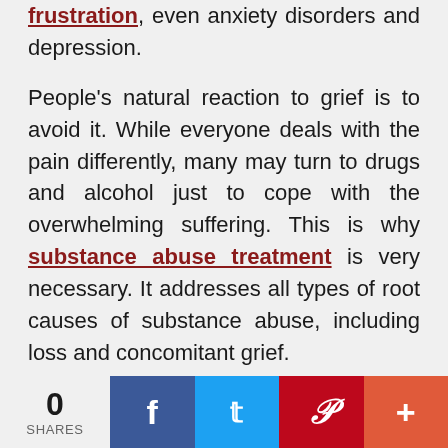frustration, even anxiety disorders and depression.

People's natural reaction to grief is to avoid it. While everyone deals with the pain differently, many may turn to drugs and alcohol just to cope with the overwhelming suffering. This is why substance abuse treatment is very necessary. It addresses all types of root causes of substance abuse, including loss and concomitant grief.

A research study shows that some forms
0 SHARES | Facebook | Twitter | Pinterest | +